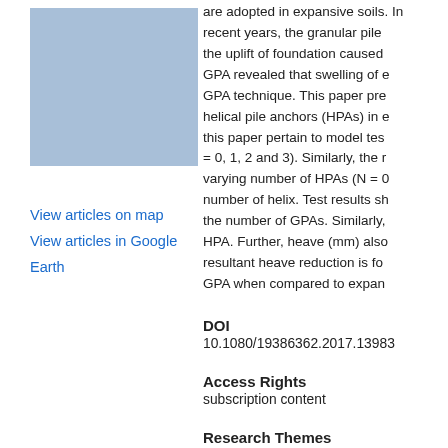[Figure (map): Light blue rectangular map image placeholder]
View articles on map
View articles in Google Earth
are adopted in expansive soils. In recent years, the granular pile the uplift of foundation caused GPA revealed that swelling of e GPA technique. This paper pre helical pile anchors (HPAs) in e this paper pertain to model tes = 0, 1, 2 and 3). Similarly, the r varying number of HPAs (N = 0 number of helix. Test results sh the number of GPAs. Similarly, HPA. Further, heave (mm) also resultant heave reduction is fo GPA when compared to expan
DOI
10.1080/19386362.2017.13983
Access Rights
subscription content
Research Themes
Natural and Built Environments
Priority Areas
Engineering, technology and